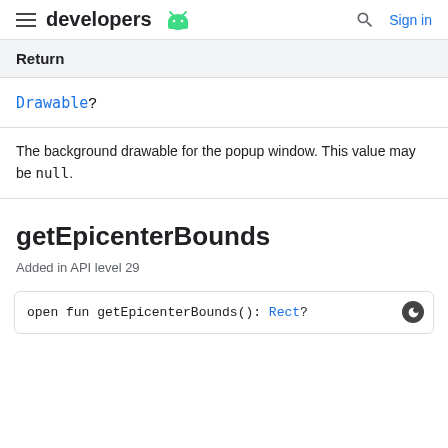developers | Sign in
Return
Drawable?
The background drawable for the popup window. This value may be null.
getEpicenterBounds
Added in API level 29
open fun getEpicenterBounds(): Rect?